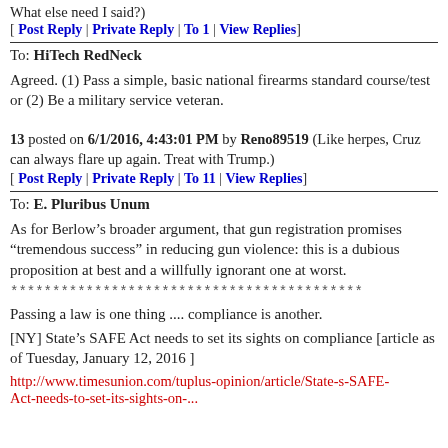What else need I said?)
[ Post Reply | Private Reply | To 1 | View Replies]
To: HiTech RedNeck
Agreed. (1) Pass a simple, basic national firearms standard course/test or (2) Be a military service veteran.
13 posted on 6/1/2016, 4:43:01 PM by Reno89519 (Like herpes, Cruz can always flare up again. Treat with Trump.)
[ Post Reply | Private Reply | To 11 | View Replies]
To: E. Pluribus Unum
As for Berlow’s broader argument, that gun registration promises “tremendous success” in reducing gun violence: this is a dubious proposition at best and a willfully ignorant one at worst.
******************************************
Passing a law is one thing .... compliance is another.
[NY] State’s SAFE Act needs to set its sights on compliance [article as of Tuesday, January 12, 2016 ]
http://www.timesunion.com/tuplus-opinion/article/State-s-SAFE-Act-needs-to-set-its-sights-on-6754136.php